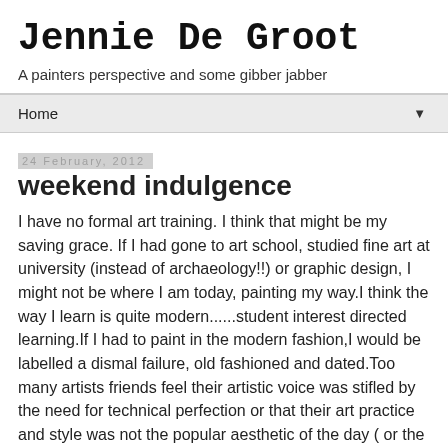Jennie De Groot
A painters perspective and some gibber jabber
Home ▼
24 February, 2012
weekend indulgence
I have no formal art training. I think that might be my saving grace. If I had gone to art school, studied fine art at university (instead of archaeology!!) or graphic design, I might not be where I am today, painting my way.I think the way I learn is quite modern......student interest directed learning.If I had to paint in the modern fashion,I would be labelled a dismal failure, old fashioned and dated.Too many artists friends feel their artistic voice was stifled by the need for technical perfection or that their art practice and style was not the popular aesthetic of the day ( or the teacher!) and